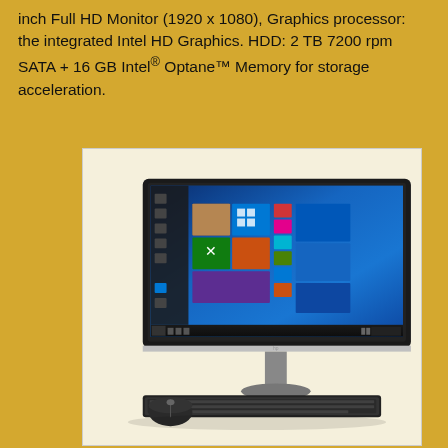inch Full HD Monitor (1920 x 1080), Graphics processor: the integrated Intel HD Graphics. HDD: 2 TB 7200 rpm SATA + 16 GB Intel® Optane™ Memory for storage acceleration.
[Figure (photo): HP All-in-One desktop computer with a large monitor displaying Windows 10 Start screen with blue background and tiles. A wireless keyboard and mouse are visible in front of the computer. The monitor has thin silver bezels and a dark stand.]